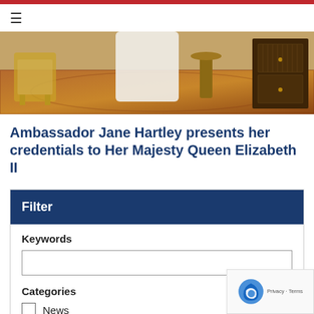[Figure (photo): Photograph showing an ornate room with antique furniture including a gilded chair, a carved wooden side table, an elaborate rug, and a dark wooden cabinet with decorative hardware. A person in white clothing is partially visible.]
Ambassador Jane Hartley presents her credentials to Her Majesty Queen Elizabeth II
Filter
Keywords
Categories
News
Speeches